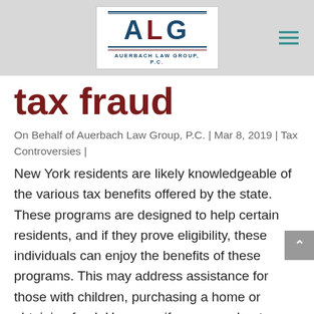[Figure (logo): Auerbach Law Group, P.C. logo with ALG letters in navy and dark red, firm name below]
tax fraud
On Behalf of Auerbach Law Group, P.C. | Mar 8, 2019 | Tax Controversies |
New York residents are likely knowledgeable of the various tax benefits offered by the state. These programs are designed to help certain residents, and if they prove eligibility, these individuals can enjoy the benefits of these programs. This may address assistance for those with children, purchasing a home or obtaining food. However, if a person cheats